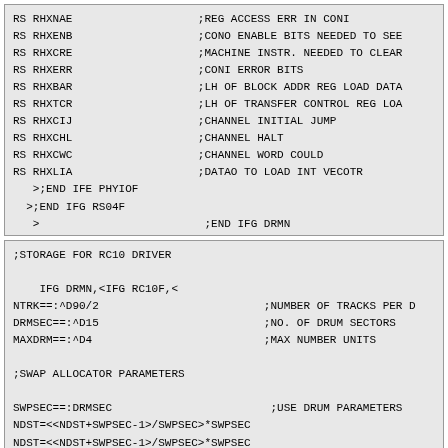RS RHXNAE ;REG ACCESS ERR IN CONI
RS RHXENB ;CONO ENABLE BITS NEEDED TO SEE
RS RHXCRE ;MACHINE INSTR. NEEDED TO CLEAR
RS RHXERR ;CONI ERROR BITS
RS RHXBAR ;LH OF BLOCK ADDR REG LOAD DATA
RS RHXTCR ;LH OF TRANSFER CONTROL REG LOAD
RS RHXCIJ ;CHANNEL INITIAL JUMP
RS RHXCHL ;CHANNEL HALT
RS RHXCWC ;CHANNEL WORD COULD
RS RHXLIA ;DATAO TO LOAD INT VECOTR
   >;END IFE PHYIOF
  >;END IFG RS04F
   >                    ;END IFG DRMN
;STORAGE FOR RC10 DRIVER

    IFG DRMN,<IFG RC10F,<
NTRK==:^D90/2                          ;NUMBER OF TRACKS PER D
DRMSEC==:^D15                          ;NO. OF DRUM SECTORS
MAXDRM==:^D4                           ;MAX NUMBER UNITS

;SWAP ALLOCATOR PARAMETERS

SWPSEC==:DRMSEC                        ;USE DRUM PARAMETERS
NDST=<<NDST+SWPSEC-1>/SWPSEC>*SWPSEC
NDST=<<NDST+SWPSEC-1>/SWPSEC>*SWPSEC
SWPTRK==:NTRK                          ;..
SWPNUN==:MAXDRM                        ;..